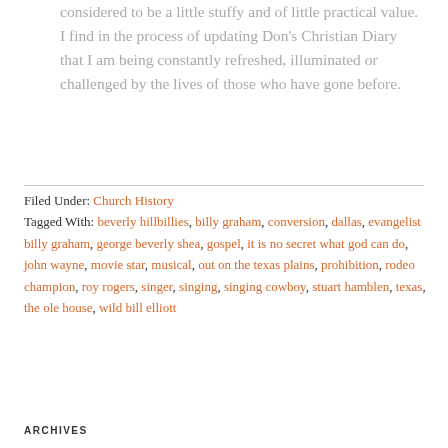considered to be a little stuffy and of little practical value. I find in the process of updating Don's Christian Diary that I am being constantly refreshed, illuminated or challenged by the lives of those who have gone before.
Filed Under: Church History
Tagged With: beverly hillbillies, billy graham, conversion, dallas, evangelist billy graham, george beverly shea, gospel, it is no secret what god can do, john wayne, movie star, musical, out on the texas plains, prohibition, rodeo champion, roy rogers, singer, singing, singing cowboy, stuart hamblen, texas, the ole house, wild bill elliott
ARCHIVES